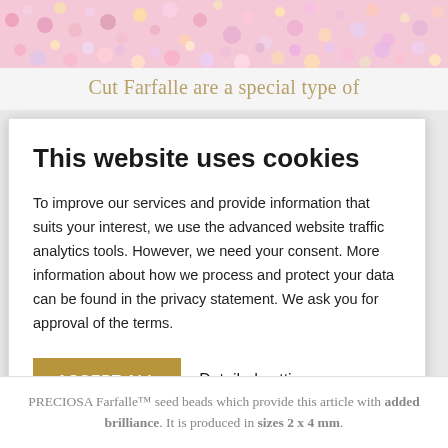[Figure (photo): Close-up photo of colorful pink, white, and yellow seed beads mixed together]
Cut Farfalle are a special type of
This website uses cookies
To improve our services and provide information that suits your interest, we use the advanced website traffic analytics tools. However, we need your consent. More information about how we process and protect your data can be found in the privacy statement. We ask you for approval of the terms.
ACCEPT ALL   Detailed settings
PRECIOSA Farfalle™ seed beads which provide this article with added brilliance. It is produced in sizes 2 x 4 mm.